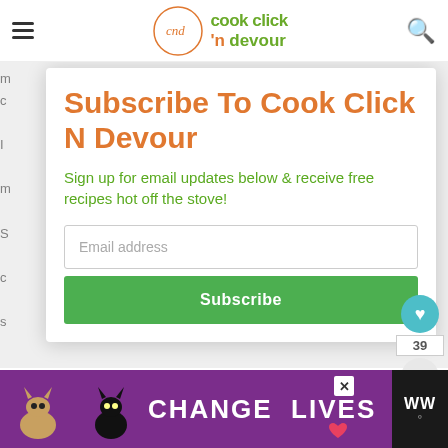cook click 'n devour
Subscribe To Cook Click N Devour
Sign up for email updates below & receive free recipes hot off the stove!
Email address
Subscribe
39
[Figure (illustration): Advertisement banner with cats and text CHANGE LIVES on purple background]
CHANGE LIVES